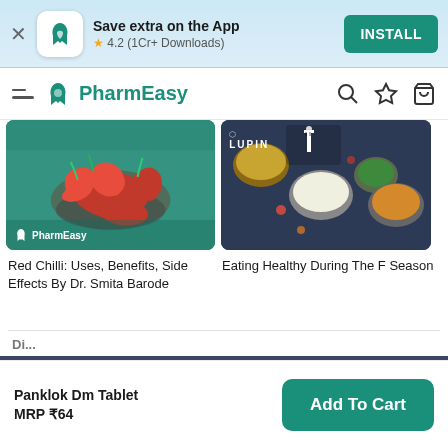Save extra on the App
4.2 (1Cr+ Downloads)
INSTALL
PharmEasy
[Figure (photo): Red chilli peppers in a bowl on a teal surface with PharmEasy watermark]
[Figure (photo): Various Indian food dishes arranged on a dark blue surface with Lupin logo watermark]
Red Chilli: Uses, Benefits, Side Effects By Dr. Smita Barode
Eating Healthy During The F Season
Browse offers and get FLAT 15% OFF
Panklok Dm Tablet
MRP ₹64
Add To Cart